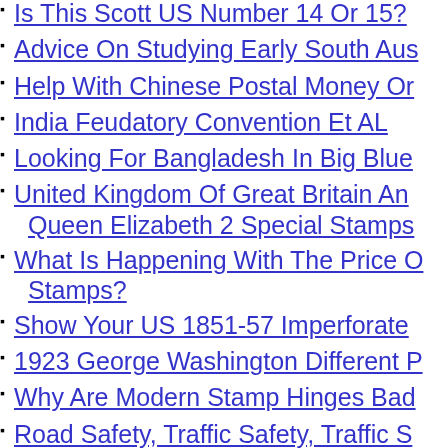Is This Scott US Number 14 Or 15?
Advice On Studying Early South Aus
Help With Chinese Postal Money Or
India Feudatory Convention Et AL
Looking For Bangladesh In Big Blue
United Kingdom Of Great Britain An Queen Elizabeth 2 Special Stamps
What Is Happening With The Price O Stamps?
Show Your US 1851-57 Imperforate
1923 George Washington Different P
Why Are Modern Stamp Hinges Bad
Road Safety, Traffic Safety, Traffic S
PMGS Stampfix
This Is Probably Not 141A/ So What
Hello From Toronto, Canada - A New
August 2022 Worldwide Stamp Give Philatelist